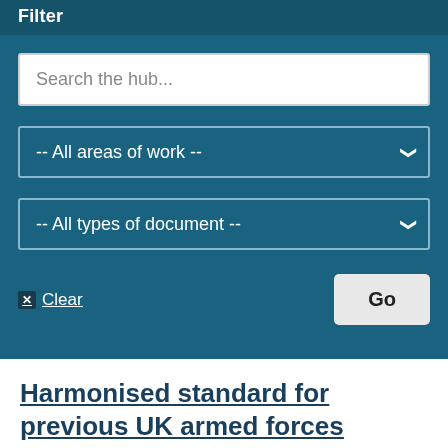Filter
Search the hub...
-- All areas of work --
-- All types of document --
Clear
Go
Harmonised standard for previous UK armed forces service